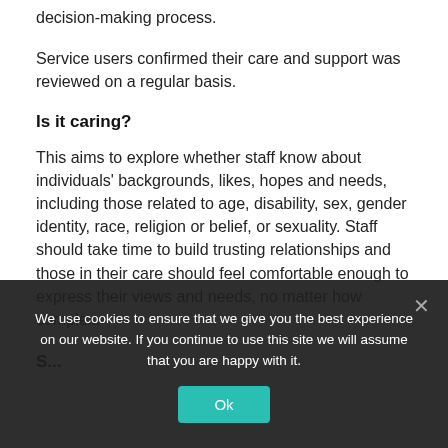decision-making process.
Service users confirmed their care and support was reviewed on a regular basis.
Is it caring?
This aims to explore whether staff know about individuals' backgrounds, likes, hopes and needs, including those related to age, disability, sex, gender identity, race, religion or belief, or sexuality. Staff should take time to build trusting relationships and those in their care should feel comfortable enough to express their views and needs, no matter how complex.
S...
We use cookies to ensure that we give you the best experience on our website. If you continue to use this site we will assume that you are happy with it.